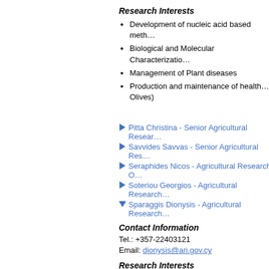Research Interests
Development of nucleic acid based meth…
Biological and Molecular Characterizatio…
Management of Plant diseases
Production and maintenance of health… Olives)
Pitta Christina - Senior Agricultural Resear…
Savvides Savvas - Senior Agricultural Res…
Seraphides Nicos - Agricultural Research O…
Soteriou Georgios - Agricultural Research…
Sparaggis Dionysis - Agricultural Research…
Contact Information
Tel.: +357-22403121
Email: dionysis@ari.gov.cy
Research Interests
Nutrition of ruminants (Bovine, sheep an…